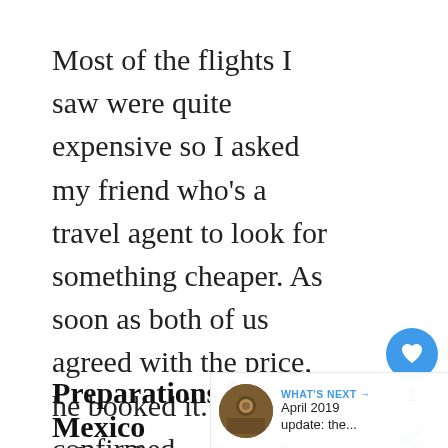Most of the flights I saw were quite expensive so I asked my friend who's a travel agent to look for something cheaper. As soon as both of us agreed with the price, he booked it. It was confirmed.
Preparations for Mexico
I don't have a lot of things as packed my house in the Philippines